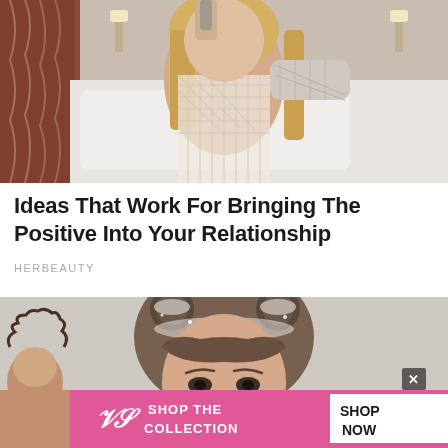[Figure (photo): Woman in white lace/net top taking a mirror selfie in a hotel bedroom with white bedding and lamps visible]
Ideas That Work For Bringing The Positive Into Your Relationship
HERBEAUTY
[Figure (photo): Close-up portrait of a young woman with double bun hairstyle with snow/glitter in her hair, with bangs, looking at camera. Overlaid at bottom is a Victoria's Secret advertisement banner with pink background reading SHOP THE COLLECTION with a SHOP NOW button, and a close (X) button above the ad.]